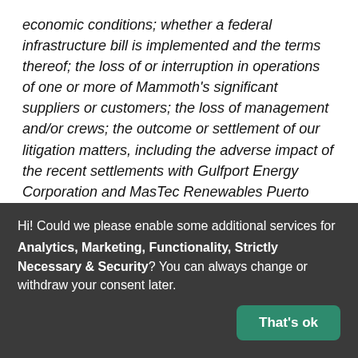economic conditions; whether a federal infrastructure bill is implemented and the terms thereof; the loss of or interruption in operations of one or more of Mammoth's significant suppliers or customers; the loss of management and/or crews; the outcome or settlement of our litigation matters, including the adverse impact of the recent settlements with Gulfport Energy Corporation and MasTec Renewables Puerto Rico, LLC, and the effect on our financial condition and results of operations; the effects of government regulation, permitting and other legal requirements; operating risks; the adequacy of capital
Hi! Could we please enable some additional services for Analytics, Marketing, Functionality, Strictly Necessary & Security? You can always change or withdraw your consent later.